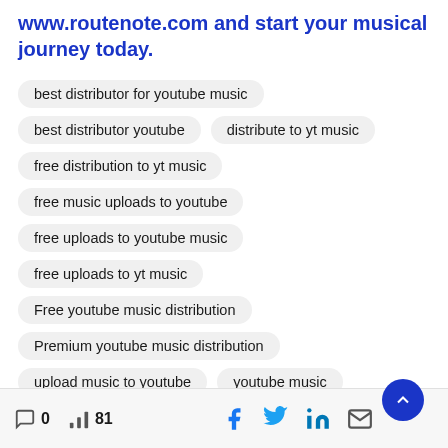www.routenote.com and start your musical journey today.
best distributor for youtube music
best distributor youtube
distribute to yt music
free distribution to yt music
free music uploads to youtube
free uploads to youtube music
free uploads to yt music
Free youtube music distribution
Premium youtube music distribution
upload music to youtube
youtube music
0  81